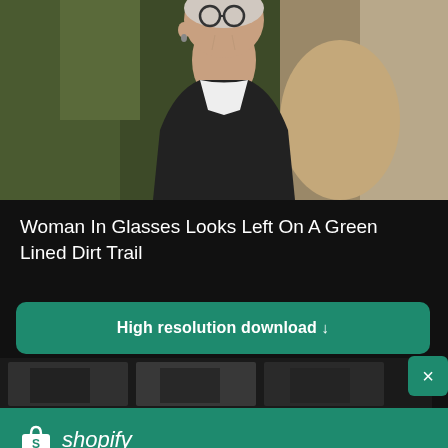[Figure (photo): Elderly woman in glasses wearing a black cardigan over white shirt, looking left, on a green-lined dirt trail outdoors]
Woman In Glasses Looks Left On A Green Lined Dirt Trail
High resolution download ↓
[Figure (photo): Partial photo strip showing second image preview]
[Figure (logo): Shopify logo with shopping bag icon and italic shopify wordmark]
Need an online store for your business?
Start free trial